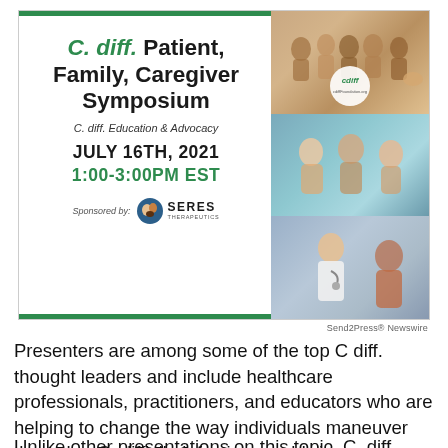[Figure (infographic): C. diff Patient, Family, Caregiver Symposium event flyer. Left panel: italic green 'C. diff.' followed by black 'Patient, Family, Caregiver Symposium', subtitle 'C. diff. Education & Advocacy', date 'JULY 16TH, 2021', time '1:00-3:00PM EST', sponsored by Seres Therapeutics logo. Right panel: three photo slots showing groups of people (families, couples, doctor-patient). Green horizontal bars top and bottom. Cdiff.foundation.org badge overlaid on first photo.]
Send2Press® Newswire
Presenters are among some of the top C diff. thought leaders and include healthcare professionals, practitioners, and educators who are helping to change the way individuals maneuver through a C. difficile infection, worldwide.
Unlike other presentations on this topic, C. diff. Survivors